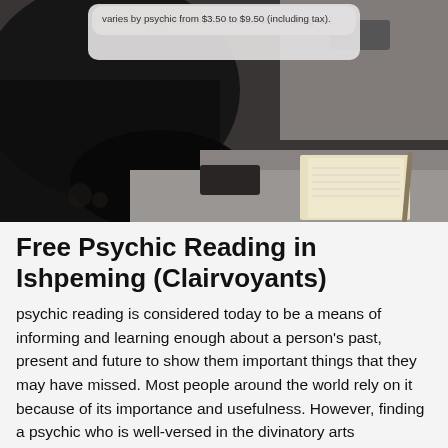varies by psychic from $3.50 to $9.50 (including tax).
[Figure (photo): Dark moody photograph showing a person in black clothing leaning over a desk, with a notebook and pen visible on the right side of the desk. A light-colored rounded tooltip box appears at top with text about pricing.]
Free Psychic Reading in Ishpeming (Clairvoyants)
psychic reading is considered today to be a means of informing and learning enough about a person's past, present and future to show them important things that they may have missed. Most people around the world rely on it because of its importance and usefulness. However, finding a psychic who is well-versed in the divinatory arts